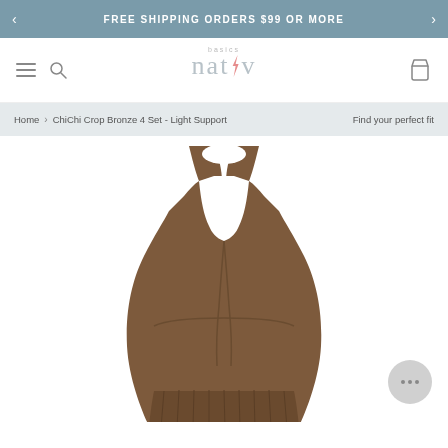FREE SHIPPING ORDERS $99 OR MORE
[Figure (logo): Nativ Basics logo with lightning bolt, grey text]
Home > ChiChi Crop Bronze 4 Set - Light Support   Find your perfect fit
[Figure (illustration): Brown/bronze seamless racerback sports bra crop top shown from the back, illustrated product image]